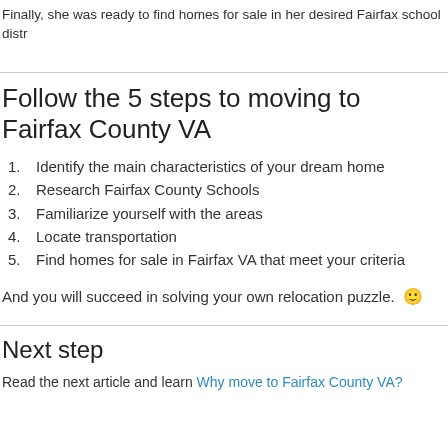Finally, she was ready to find homes for sale in her desired Fairfax school distr...
Follow the 5 steps to moving to Fairfax County VA
1. Identify the main characteristics of your dream home
2. Research Fairfax County Schools
3. Familiarize yourself with the areas
4. Locate transportation
5. Find homes for sale in Fairfax VA that meet your criteria
And you will succeed in solving your own relocation puzzle. 🙂
Next step
Read the next article and learn Why move to Fairfax County VA?